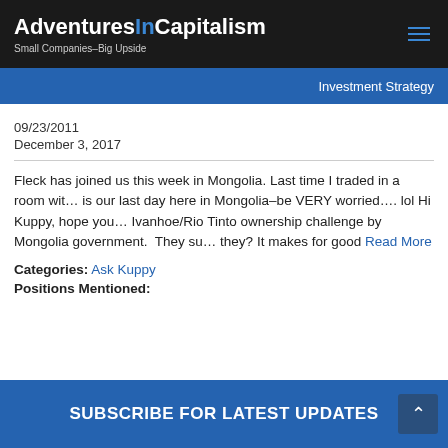AdventuresInCapitalism – Small Companies–Big Upside
Investment Strategy
09/23/2011
December 3, 2017
Fleck has joined us this week in Mongolia. Last time I traded in a room wit… is our last day here in Mongolia–be VERY worried…. lol Hi Kuppy, hope you… Ivanhoe/Rio Tinto ownership challenge by Mongolia government.  They su… they? It makes for good Read More
Categories: Ask Kuppy
Positions Mentioned:
SUBSCRIBE FOR LATEST UPDATES